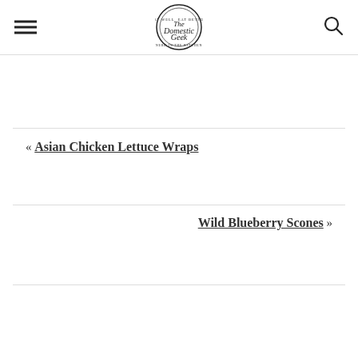The Domestic Geek
« Asian Chicken Lettuce Wraps
Wild Blueberry Scones »